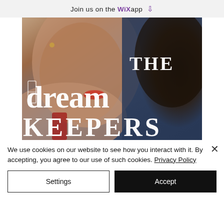Join us on the WiX app ⬇
[Figure (photo): Book cover for 'The Dream Keepers' showing a close-up of a young woman's face with curly hair, red lips, and a jeweled earring. Large white serif text reads 'THE dream KEEPERS' overlaid on a dark blue background.]
We use cookies on our website to see how you interact with it. By accepting, you agree to our use of such cookies. Privacy Policy
Settings
Accept